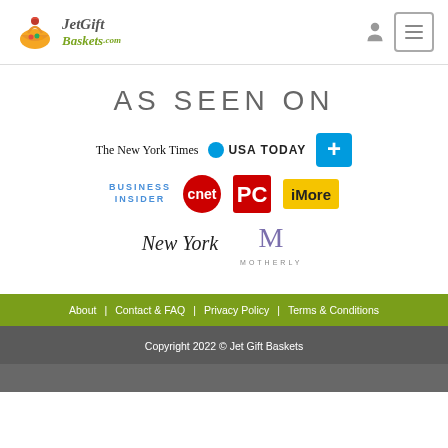JetGift Baskets
AS SEEN ON
[Figure (logo): Media logos: The New York Times, USA TODAY, CNET, PC Magazine, iMore, Business Insider, New York Magazine, Motherly]
About | Contact & FAQ | Privacy Policy | Terms & Conditions
Copyright 2022 © Jet Gift Baskets